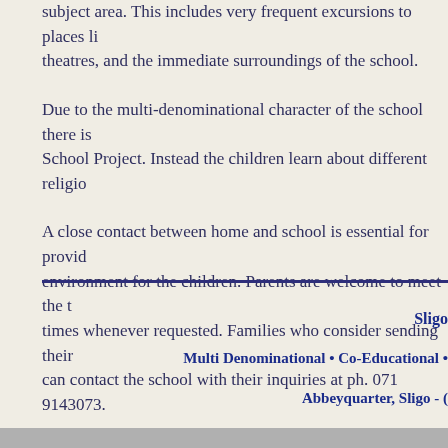subject area. This includes very frequent excursions to places li... theatres, and the immediate surroundings of the school.
Due to the multi-denominational character of the school there is... School Project. Instead the children learn about different religio...
A close contact between home and school is essential for provid... environment for the children. Parents are welcome to meet the t... times whenever requested. Families who consider sending their... can contact the school with their inquiries at ph. 071 9143073.
Sligo
Multi Denominational • Co-Educational •
Abbeyquarter, Sligo - (